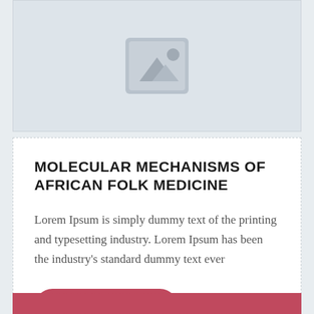[Figure (illustration): Image placeholder with a grey mountain/landscape icon on a light grey background card]
MOLECULAR MECHANISMS OF AFRICAN FOLK MEDICINE
Lorem Ipsum is simply dummy text of the printing and typesetting industry. Lorem Ipsum has been the industry's standard dummy text ever
+ Read more